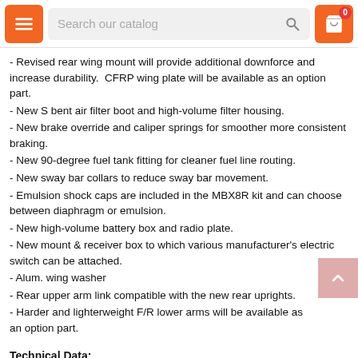Search our catalog
- Revised rear wing mount will provide additional downforce and increase durability.  CFRP wing plate will be available as an option part.
- New S bent air filter boot and high-volume filter housing.
- New brake override and caliper springs for smoother more consistent braking.
- New 90-degree fuel tank fitting for cleaner fuel line routing.
- New sway bar collars to reduce sway bar movement.
- Emulsion shock caps are included in the MBX8R kit and can choose between diaphragm or emulsion.
- New high-volume battery box and radio plate.
- New mount & receiver box to which various manufacturer's electric switch can be attached.
- Alum. wing washer
- Rear upper arm link compatible with the new rear uprights.
- Harder and lighterweight F/R lower arms will be available as an option part.
Technical Data:
Width: 309mm
Wheel Base: 315~320mm adjustable